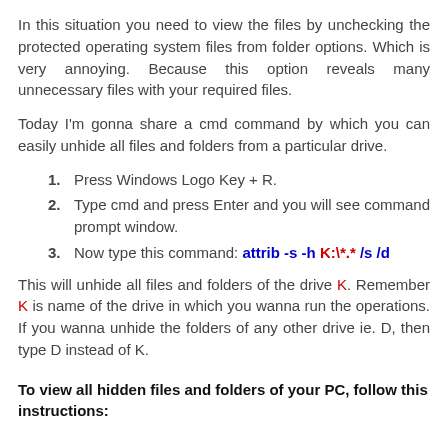In this situation you need to view the files by unchecking the protected operating system files from folder options. Which is very annoying. Because this option reveals many unnecessary files with your required files.
Today I'm gonna share a cmd command by which you can easily unhide all files and folders from a particular drive.
1. Press Windows Logo Key + R.
2. Type cmd and press Enter and you will see command prompt window.
3. Now type this command: attrib -s -h K:\*.* /s /d
This will unhide all files and folders of the drive K. Remember K is name of the drive in which you wanna run the operations. If you wanna unhide the folders of any other drive ie. D, then type D instead of K.
To view all hidden files and folders of your PC, follow this instructions: